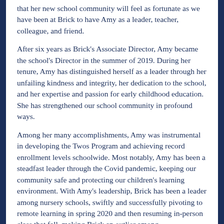that her new school community will feel as fortunate as we have been at Brick to have Amy as a leader, teacher, colleague, and friend.
After six years as Brick's Associate Director, Amy became the school's Director in the summer of 2019. During her tenure, Amy has distinguished herself as a leader through her unfailing kindness and integrity, her dedication to the school, and her expertise and passion for early childhood education. She has strengthened our school community in profound ways.
Among her many accomplishments, Amy was instrumental in developing the Twos Program and achieving record enrollment levels schoolwide. Most notably, Amy has been a steadfast leader through the Covid pandemic, keeping our community safe and protecting our children's learning environment. With Amy's leadership, Brick has been a leader among nursery schools, swiftly and successfully pivoting to remote learning in spring 2020 and then resuming in-person class that fall, making Brick an outlier among